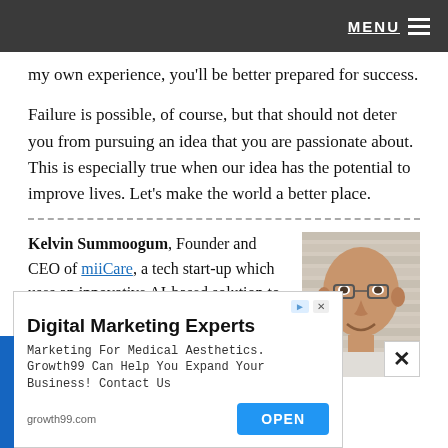MENU
my own experience, you’ll be better prepared for success.
Failure is possible, of course, but that should not deter you from pursuing an idea that you are passionate about.  This is especially true when our idea has the potential to improve lives. Let’s make the world a better place.
Kelvin Summoogum, Founder and CEO of miiCare, a tech start-up which uses an innovative AI-based solution to give elderly people the choice to live
[Figure (photo): Headshot photo of Kelvin Summoogum, a bald man with glasses, smiling]
[Figure (screenshot): Advertisement banner: Digital Marketing Experts. Marketing For Medical Aesthetics. Growth99 Can Help You Expand Your Business! Contact Us. growth99.com. OPEN button.]